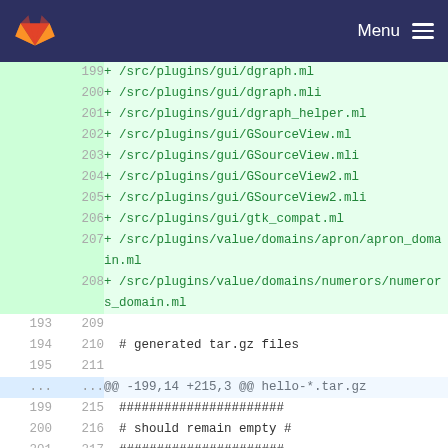[Figure (screenshot): GitLab header bar with orange fox logo on dark navy background and Menu icon on the right]
| old | new | code |
| --- | --- | --- |
|  | 199 | + /src/plugins/gui/dgraph.ml |
|  | 200 | + /src/plugins/gui/dgraph.mli |
|  | 201 | + /src/plugins/gui/dgraph_helper.ml |
|  | 202 | + /src/plugins/gui/GSourceView.ml |
|  | 203 | + /src/plugins/gui/GSourceView.mli |
|  | 204 | + /src/plugins/gui/GSourceView2.ml |
|  | 205 | + /src/plugins/gui/GSourceView2.mli |
|  | 206 | + /src/plugins/gui/gtk_compat.ml |
|  | 207 | + /src/plugins/value/domains/apron/apron_domain.ml |
|  | 208 | + /src/plugins/value/domains/numerors/numerors_domain.ml |
| 193 | 209 |  |
| 194 | 210 |   # generated tar.gz files |
| 195 | 211 |  |
| ... | ... | @@ -199,14 +215,3 @@ hello-*.tar.gz |
| 199 | 215 |   ###################### |
| 200 | 216 |   # should remain empty # |
| 201 | 217 |   ###################### |
| 202 |  | - /src/plugins/gui/GSourceView2.mli |